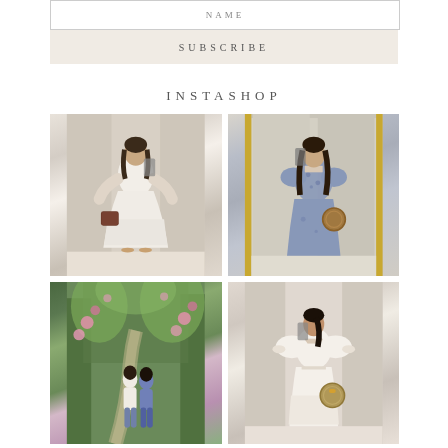NAME
SUBSCRIBE
INSTASHOP
[Figure (photo): Woman in white tiered maxi dress holding brown wicker tote bag, taking mirror selfie in neutral room with draped curtains]
[Figure (photo): Woman in blue floral square-neck puff sleeve midi dress holding round rattan bag, taking mirror selfie with gold frame mirror]
[Figure (photo): Two women walking through garden path lined with pink flowering roses and green trees]
[Figure (photo): Woman in white puff sleeve square-neck tiered maxi dress holding round bag, taking mirror selfie]